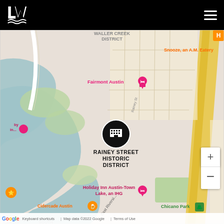[Figure (logo): Loews Hotels logo - white LW letters with wave design on black background]
[Figure (map): Google Map showing Rainey Street Historic District in Austin, TX with a hotel marker. Surrounding landmarks include Fairmont Austin, Holiday Inn Austin-Town Lake an IHG, Cidercade Austin, Snooze an A.M. Eatery, Chicano Park. Streets visible include E Cesar Chavez St, Willow St, Holly St, Taylor St, Canterbury St, E 2nd St, Medina St, Attayac St, Waller St, East Riverside Dr, Academy Dr. Map data copyright 2022 Google.]
Google  Keyboard shortcuts  Map data ©2022 Google  Terms of Use